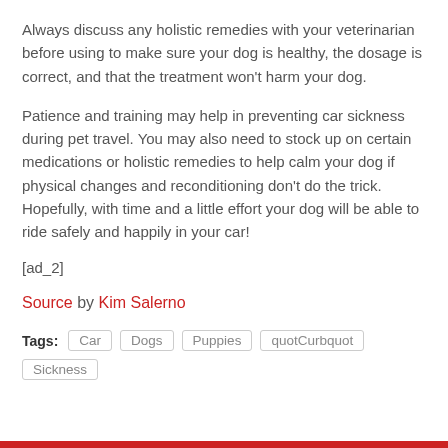Always discuss any holistic remedies with your veterinarian before using to make sure your dog is healthy, the dosage is correct, and that the treatment won’t harm your dog.
Patience and training may help in preventing car sickness during pet travel. You may also need to stock up on certain medications or holistic remedies to help calm your dog if physical changes and reconditioning don’t do the trick. Hopefully, with time and a little effort your dog will be able to ride safely and happily in your car!
[ad_2]
Source by Kim Salerno
Tags: Car Dogs Puppies quotCurbquot Sickness